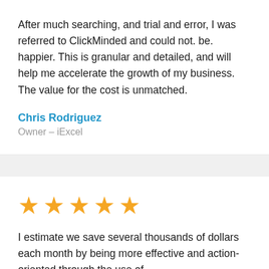After much searching, and trial and error, I was referred to ClickMinded and could not. be. happier. This is granular and detailed, and will help me accelerate the growth of my business. The value for the cost is unmatched.
Chris Rodriguez
Owner – iExcel
[Figure (other): Five orange star rating icons]
I estimate we save several thousands of dollars each month by being more effective and action-oriented through the use of